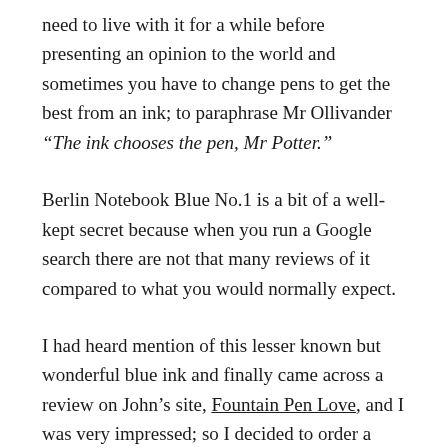need to live with it for a while before presenting an opinion to the world and sometimes you have to change pens to get the best from an ink; to paraphrase Mr Ollivander “The ink chooses the pen, Mr Potter.”
Berlin Notebook Blue No.1 is a bit of a well-kept secret because when you run a Google search there are not that many reviews of it compared to what you would normally expect.
I had heard mention of this lesser known but wonderful blue ink and finally came across a review on John’s site, Fountain Pen Love, and I was very impressed; so I decided to order a bottle.